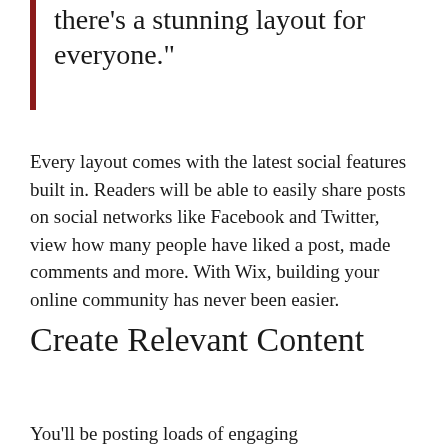there’s a stunning layout for everyone.”
Every layout comes with the latest social features built in. Readers will be able to easily share posts on social networks like Facebook and Twitter, view how many people have liked a post, made comments and more. With Wix, building your online community has never been easier.
Create Relevant Content
You’ll be posting loads of engaging